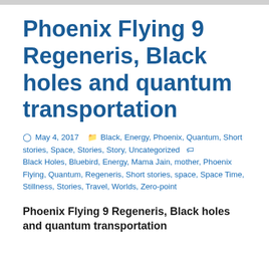Phoenix Flying 9 Regeneris, Black holes and quantum transportation
May 4, 2017   Black, Energy, Phoenix, Quantum, Short stories, Space, Stories, Story, Uncategorized   Black Holes, Bluebird, Energy, Mama Jain, mother, Phoenix Flying, Quantum, Regeneris, Short stories, space, Space Time, Stillness, Stories, Travel, Worlds, Zero-point
Phoenix Flying 9 Regeneris, Black holes and quantum transportation